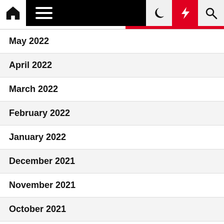[Figure (screenshot): Website navigation bar with home icon, hamburger menu, dark mode moon icon, red lightning bolt icon, and search icon]
May 2022
April 2022
March 2022
February 2022
January 2022
December 2021
November 2021
October 2021
September 2021